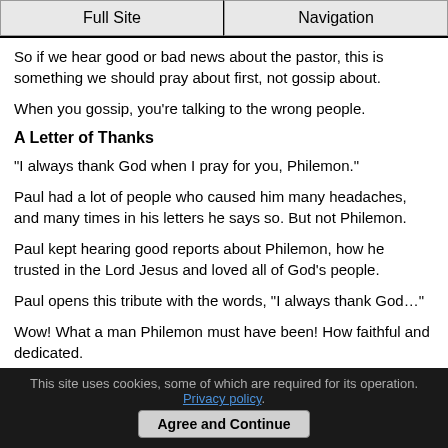Full Site | Navigation
So if we hear good or bad news about the pastor, this is something we should pray about first, not gossip about.
When you gossip, you're talking to the wrong people.
A Letter of Thanks
"I always thank God when I pray for you, Philemon."
Paul had a lot of people who caused him many headaches, and many times in his letters he says so. But not Philemon.
Paul kept hearing good reports about Philemon, how he trusted in the Lord Jesus and loved all of God's people.
Paul opens this tribute with the words, "I always thank God…"
Wow! What a man Philemon must have been! How faithful and dedicated.
This site uses cookies, some of which are required for its operation. Privacy policy. Agree and Continue